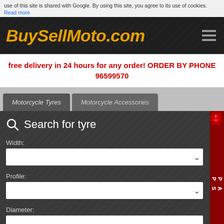use of this site is shared with Google. By using this site, you agree to its use of cookies. Read more
[Figure (logo): BuySellMoto.com logo in italic bold yellow-orange text on dark textured background, with hamburger menu icon on right]
free delivery in 24 hours for any order! ORDER BY PHONE 96599570
Motorcycle Tyres  Motorcycle Accessories
Search for tyre
Width:
Profile:
Diameter:
SHOPPING BACK